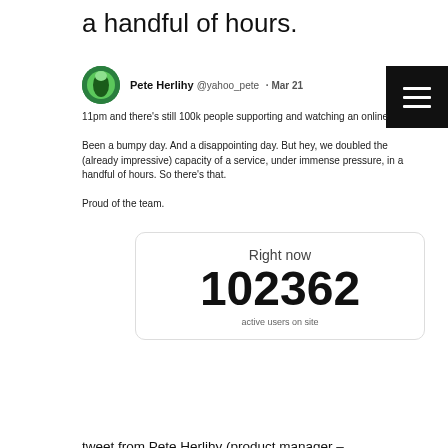a handful of hours.
[Figure (screenshot): Tweet from Pete Herlihy (@yahoo_pete) dated Mar 21, with avatar, tweet text about 100k people, and a stats box showing 102362 active users on site. A hamburger menu icon is in the top right corner.]
tweet from Pete Herlihy (product manager – petitions website)
Privacy & Cookies: This site uses cookies. By continuing to use this website, you agree to their use.
To find out more, including how to control cookies, see here: Cookie Policy
petitions website did a number of times